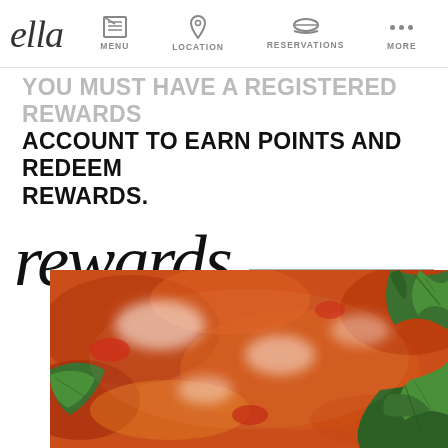ella | MENU | LOCATION | RESERVATIONS | MORE
YOU MUST HAVE A REGISTERED REWARDS ACCOUNT TO EARN POINTS AND REDEEM REWARDS.
rewards
[Figure (photo): Close-up photo of pizza with tomato sauce, melted white cheese, and fresh green basil leaves on top]